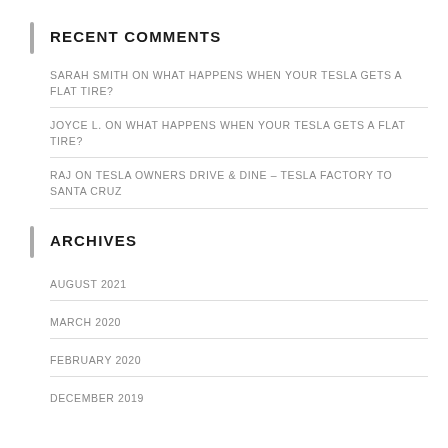RECENT COMMENTS
SARAH SMITH ON WHAT HAPPENS WHEN YOUR TESLA GETS A FLAT TIRE?
JOYCE L. ON WHAT HAPPENS WHEN YOUR TESLA GETS A FLAT TIRE?
RAJ ON TESLA OWNERS DRIVE & DINE – TESLA FACTORY TO SANTA CRUZ
ARCHIVES
AUGUST 2021
MARCH 2020
FEBRUARY 2020
DECEMBER 2019